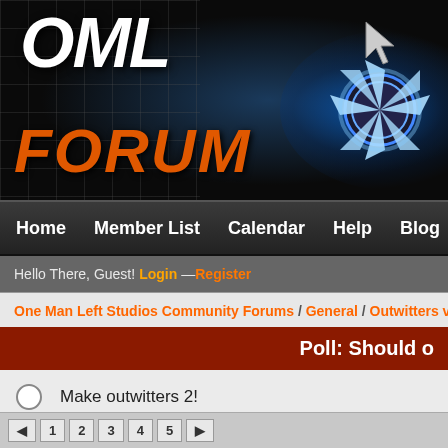[Figure (screenshot): OML Forum header banner with logo, stylized game character and mace weapon on dark background]
Home  Member List  Calendar  Help  Blog
Hello There, Guest! Login — Register
One Man Left Studios Community Forums / General / Outwitters v / Out
Poll: Should o
Make outwitters 2!
I don't care
Vote!